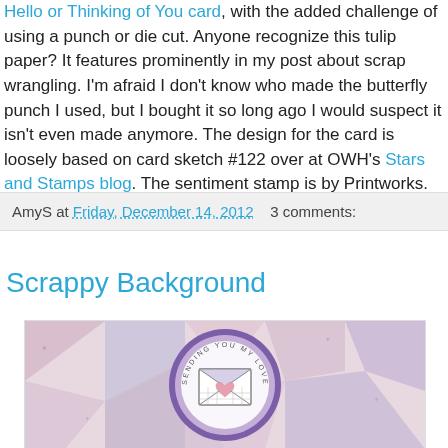Hello or Thinking of You card, with the added challenge of using a punch or die cut. Anyone recognize this tulip paper? It features prominently in my post about scrap wrangling. I'm afraid I don't know who made the butterfly punch I used, but I bought it so long ago I would suspect it isn't even made anymore. The design for the card is loosely based on card sketch #122 over at OWH's Stars and Stamps blog. The sentiment stamp is by Printworks.
AmyS at Friday, December 14, 2012   3 comments:
Scrappy Background
[Figure (photo): A handmade greeting card with a circular purple/lavender die-cut featuring a stamped envelope with a heart, text reading 'SENDING YOU MY LOVE' around the circle, on a scrappy patterned paper background in pastel pink, blue, and purple hues.]